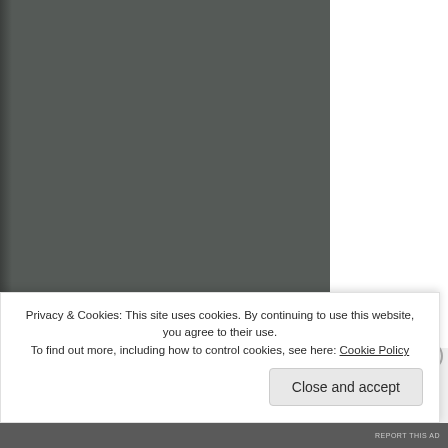[Figure (photo): Dark gray photograph area occupying the left two-thirds of the upper portion of the page, with a torn/irregular left edge effect.]
Privacy & Cookies: This site uses cookies. By continuing to use this website, you agree to their use.
To find out more, including how to control cookies, see here: Cookie Policy
Close and accept
REPORT THIS AD